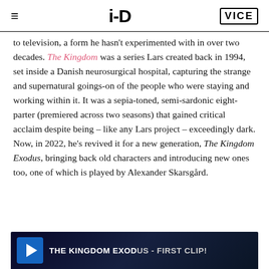i-D | VICE
to television, a form he hasn't experimented with in over two decades. The Kingdom was a series Lars created back in 1994, set inside a Danish neurosurgical hospital, capturing the strange and supernatural goings-on of the people who were staying and working within it. It was a sepia-toned, semi-sardonic eight-parter (premiered across two seasons) that gained critical acclaim despite being – like any Lars project – exceedingly dark. Now, in 2022, he's revived it for a new generation, The Kingdom Exodus, bringing back old characters and introducing new ones too, one of which is played by Alexander Skarsgård.
[Figure (screenshot): Video thumbnail for THE KINGDOM EXODUS - first clip! with a blue square Z logo icon on dark background]